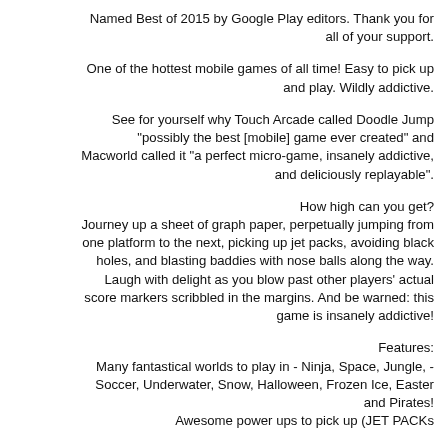Named Best of 2015 by Google Play editors. Thank you for all of your support.
One of the hottest mobile games of all time! Easy to pick up and play. Wildly addictive.
See for yourself why Touch Arcade called Doodle Jump "possibly the best [mobile] game ever created" and Macworld called it "a perfect micro-game, insanely addictive, and deliciously replayable".
How high can you get? Journey up a sheet of graph paper, perpetually jumping from one platform to the next, picking up jet packs, avoiding black holes, and blasting baddies with nose balls along the way. Laugh with delight as you blow past other players' actual score markers scribbled in the margins. And be warned: this game is insanely addictive!
Features: Many fantastical worlds to play in - Ninja, Space, Jungle, Soccer, Underwater, Snow, Halloween, Frozen Ice, Easter and Pirates! Awesome power ups to pick up (JET PACKs